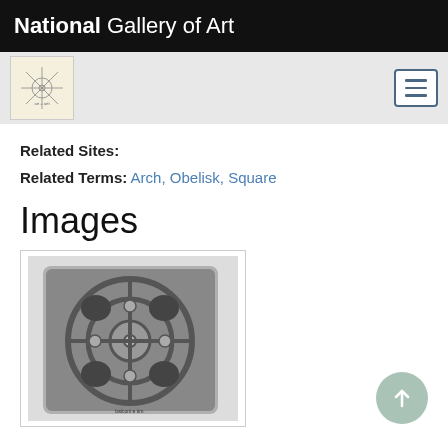National Gallery of Art
Related Sites:
Related Terms: Arch, Obelisk, Square
Images
[Figure (photo): Black and white aerial/top-down view of a circular architectural plan with radiating pathways, possibly a park or plaza design, shown in a bordered image box.]